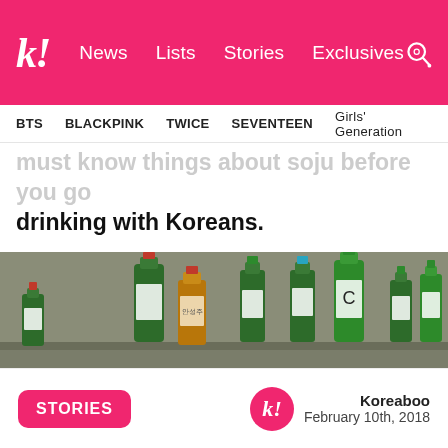k! News Lists Stories Exclusives
BTS BLACKPINK TWICE SEVENTEEN Girls' Generation
must know things about soju before you go drinking with Koreans.
[Figure (photo): Multiple green soju bottles and one brown bottle arranged on stone steps, showing various Korean soju brand labels]
STORIES
Koreaboo
February 10th, 2018